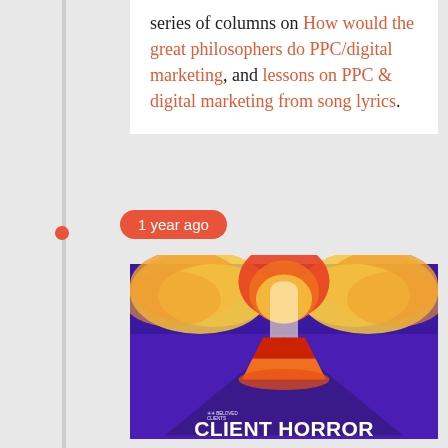series of columns on How would the great philosophers do PPC/digital marketing, and lessons on PPC & digital marketing from song lyrics.
1 year ago
[Figure (illustration): Illustration of a volcano erupting with orange/yellow smoke clouds against a purple background, with 'BELOVED CLIENTS' logo and text 'CLIENT HORROR STORIES' at the bottom]